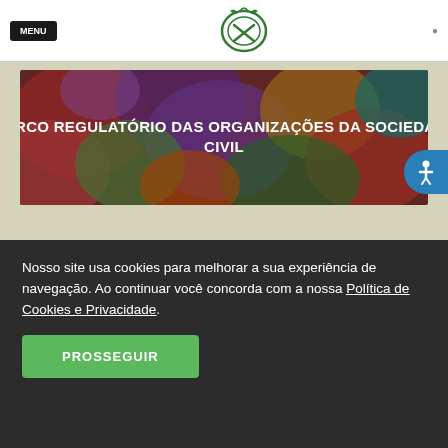MARCO REGULATÓRIO DAS ORGANIZAÇÕES DA SOCIEDADE CIVIL
[Figure (illustration): Colorful abstract speech bubble / circles illustration with text overlay: MARCO REGULATÓRIO DAS ORGANIZAÇÕES DA SOCIEDADE CIVIL]
[Figure (logo): Green emblem/seal logo in page header]
[Figure (illustration): Red circular Facebook icon button]
Nosso site usa cookies para melhorar a sua experiência de navegação. Ao continuar você concorda com a nossa Política de Cookies e Privacidade.
PROSSEGUIR